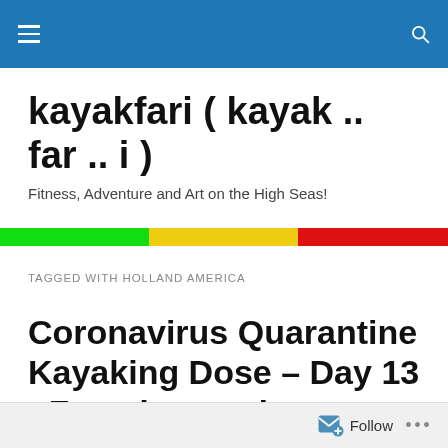kayakfari blog header navigation bar
kayakfari ( kayak .. far .. i )
Fitness, Adventure and Art on the High Seas!
TAGGED WITH HOLLAND AMERICA
Coronavirus Quarantine Kayaking Dose – Day 13 : Zaandam and Rotterdam cruise ship encounter
Follow